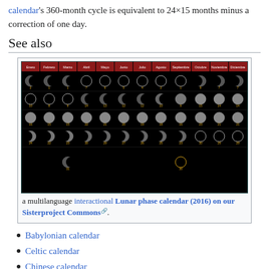calendar's 360-month cycle is equivalent to 24×15 months minus a correction of one day.
See also
[Figure (photo): A multilanguage lunar phase calendar for 2016 showing moon phases for each month (Enero through Diciembre) in a grid layout on a black background with Spanish month headers in red.]
a multilanguage interactional Lunar phase calendar (2016) on our Sisterproject Commons.
Babylonian calendar
Celtic calendar
Chinese calendar
Epact